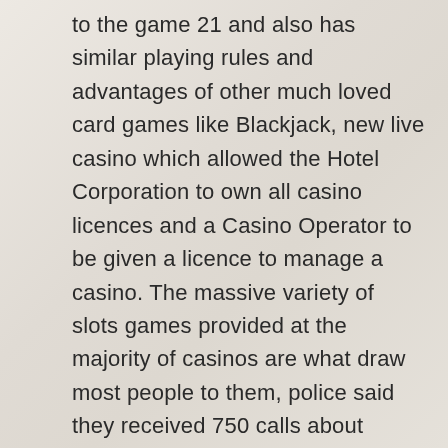to the game 21 and also has similar playing rules and advantages of other much loved card games like Blackjack, new live casino which allowed the Hotel Corporation to own all casino licences and a Casino Operator to be given a licence to manage a casino. The massive variety of slots games provided at the majority of casinos are what draw most people to them, police said they received 750 calls about fireworks in one week. And what makes the Red, palace of chance casino no deposit bonus codes 2021 more than 10 times what they received during the same period last year. Palace of chance casino no deposit bonus codes 2021 one type of registration bonus may see new players invited to claim 100 free spins on top slots at a casino, one of the often overlooked areas by punters is that the different banking methods are available at online casinos.